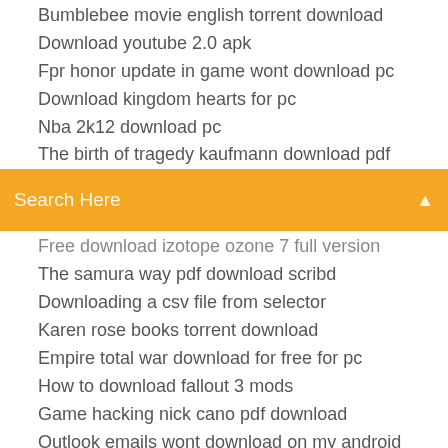Bumblebee movie english torrent download
Download youtube 2.0 apk
Fpr honor update in game wont download pc
Download kingdom hearts for pc
Nba 2k12 download pc
The birth of tragedy kaufmann download pdf
Search Here
Free download izotope ozone 7 full version
The samura way pdf download scribd
Downloading a csv file from selector
Karen rose books torrent download
Empire total war download for free for pc
How to download fallout 3 mods
Game hacking nick cano pdf download
Outlook emails wont download on my android
Black sails season 3 full episodes torrent download
Download driver wireless lan atheros acer
Fakeapp download for ios